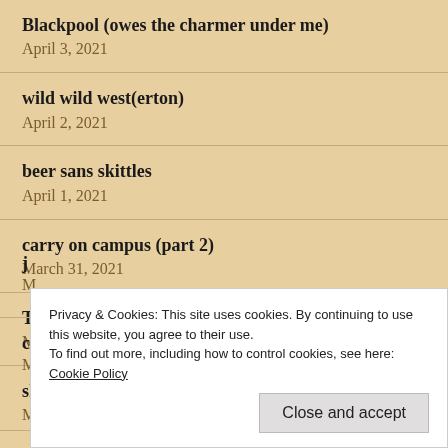Blackpool (owes the charmer under me)
April 3, 2021
wild wild west(erton)
April 2, 2021
beer sans skittles
April 1, 2021
carry on campus (part 2)
March 31, 2021
The Castle, the Gypsy and the Fire Dance
March 30, 2021
shop 'til you drop
March 29, 2021
Privacy & Cookies: This site uses cookies. By continuing to use this website, you agree to their use.
To find out more, including how to control cookies, see here: Cookie Policy
Close and accept